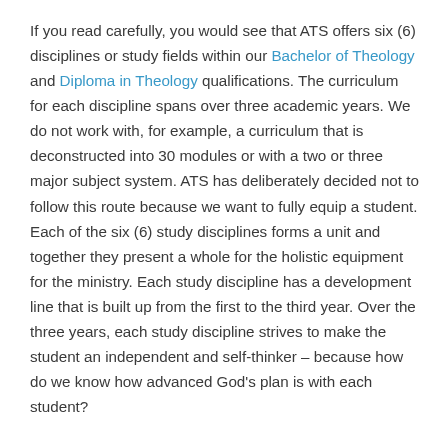If you read carefully, you would see that ATS offers six (6) disciplines or study fields within our Bachelor of Theology and Diploma in Theology qualifications. The curriculum for each discipline spans over three academic years. We do not work with, for example, a curriculum that is deconstructed into 30 modules or with a two or three major subject system. ATS has deliberately decided not to follow this route because we want to fully equip a student. Each of the six (6) study disciplines forms a unit and together they present a whole for the holistic equipment for the ministry. Each study discipline has a development line that is built up from the first to the third year. Over the three years, each study discipline strives to make the student an independent and self-thinker – because how do we know how advanced God's plan is with each student?